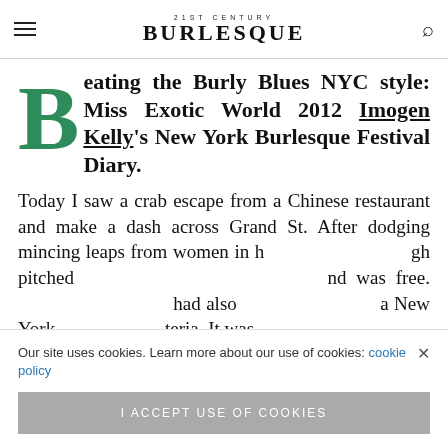21ST CENTURY BURLESQUE
Beating the Burly Blues NYC style: Miss Exotic World 2012 Imogen Kelly's New York Burlesque Festival Diary.
Today I saw a crab escape from a Chinese restaurant and make a dash across Grand St. After dodging mincing leaps from women in high pitched and was free. had also a New York teria. It was
Our site uses cookies. Learn more about our use of cookies: cookie policy
I ACCEPT USE OF COOKIES